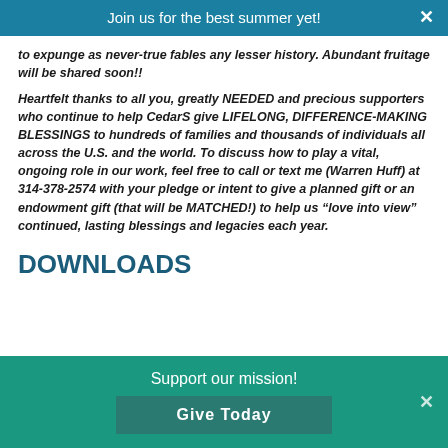Join us for the best summer yet!
to expunge as never-true fables any lesser history. Abundant fruitage will be shared soon!!
Heartfelt thanks to all you, greatly NEEDED and precious supporters who continue to help CedarS give LIFELONG, DIFFERENCE-MAKING BLESSINGS to hundreds of families and thousands of individuals all across the U.S. and the world. To discuss how to play a vital, ongoing role in our work, feel free to call or text me (Warren Huff) at 314-378-2574 with your pledge or intent to give a planned gift or an endowment gift (that will be MATCHED!) to help us “love into view” continued, lasting blessings and legacies each year.
DOWNLOADS
Support our mission!
Give Today